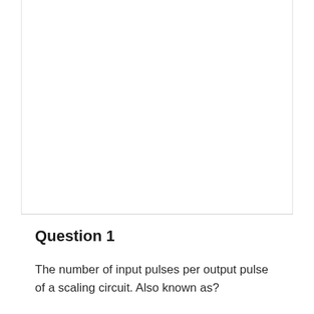Question 1
The number of input pulses per output pulse of a scaling circuit. Also known as?